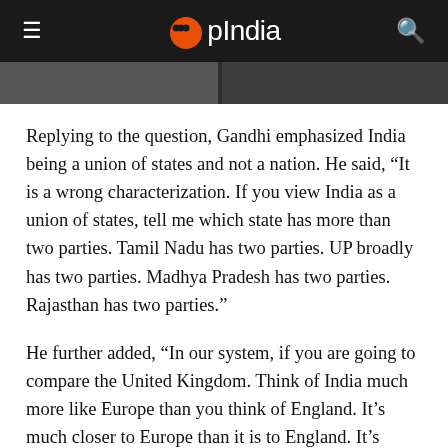OpIndia
Replying to the question, Gandhi emphasized India being a union of states and not a nation. He said, “It is a wrong characterization. If you view India as a union of states, tell me which state has more than two parties. Tamil Nadu has two parties. UP broadly has two parties. Madhya Pradesh has two parties. Rajasthan has two parties.”
He further added, “In our system, if you are going to compare the United Kingdom. Think of India much more like Europe than you think of England. It’s much closer to Europe than it is to England. It’s much more accurate to think of India as Europe and think of